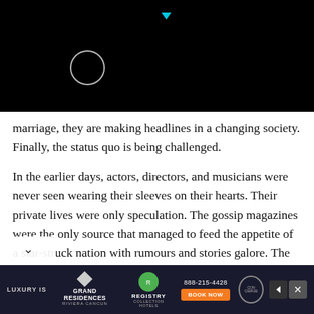[Figure (screenshot): Black video player area with a partial circle/loading indicator in white and a cyan play/arrow indicator at top center]
marriage, they are making headlines in a changing society. Finally, the status quo is being challenged.
In the earlier days, actors, directors, and musicians were never seen wearing their sleeves on their hearts. Their private lives were only speculation. The gossip magazines were the only source that managed to feed the appetite of a star-struck nation with rumours and stories galore. The greatest Hindi film star cum icon, Amitabh Bhan, was forever found guilty of loving Rekha and
[Figure (screenshot): Dark advertisement banner at the bottom: LUXURY IS | GRAND RESIDENCES RIVIERA CANCUN | REGISTRY COLLECTION HOTELS logo | 888-215-4428 | BOOK NOW button | navigation arrows and close button]